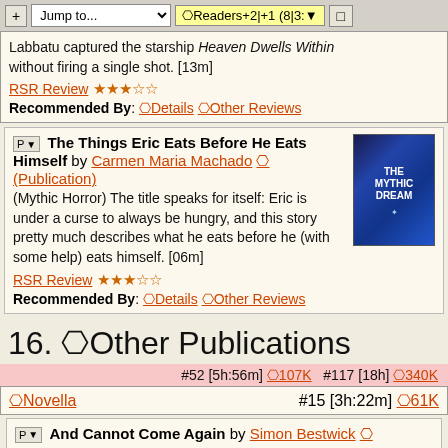+ Jump to... ▼ ⎔Readers+2|+1 (8|3: ▼ □
Labbatu captured the starship Heaven Dwells Within without firing a single shot. [13m] RSR Review ★★★☆☆ Recommended By: ⎔Details ⎔Other Reviews
P ▼ The Things Eric Eats Before He Eats Himself by Carmen Maria Machado ⎔ (Publication) (Mythic Horror) The title speaks for itself: Eric is under a curse to always be hungry, and this story pretty much describes what he eats before he (with some help) eats himself. [06m] RSR Review ★★★☆☆ Recommended By: ⎔Details ⎔Other Reviews
16. ⎔Other Publications
#52 [5h:56m] ⎔107K  #117 [18h] ⎔340K
⎔Novella   #15 [3h:22m] ⎔61K
P ▼ And Cannot Come Again by Simon Bestwick ⎔ And Cannot Come Again 2019
Not reviewed by Rocket Stack Rank.
⎔Other Reviews